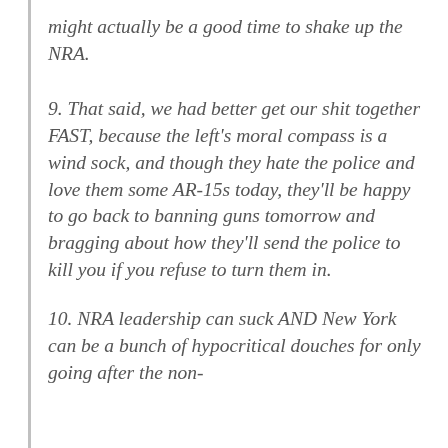might actually be a good time to shake up the NRA.
9. That said, we had better get our shit together FAST, because the left's moral compass is a wind sock, and though they hate the police and love them some AR-15s today, they'll be happy to go back to banning guns tomorrow and bragging about how they'll send the police to kill you if you refuse to turn them in.
10. NRA leadership can suck AND New York can be a bunch of hypocritical douches for only going after the non-